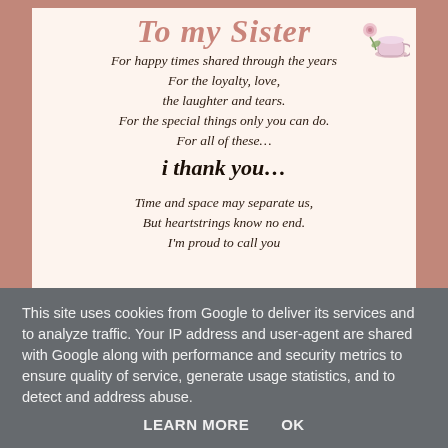To my Sister
[Figure (illustration): Decorative teacup and rose illustration in top-right corner of greeting card]
For happy times shared through the years
For the loyalty, love,
the laughter and tears.
For the special things only you can do.
For all of these…
i thank you…
Time and space may separate us,
But heartstrings know no end.
I'm proud to call you
This site uses cookies from Google to deliver its services and to analyze traffic. Your IP address and user-agent are shared with Google along with performance and security metrics to ensure quality of service, generate usage statistics, and to detect and address abuse.
LEARN MORE    OK